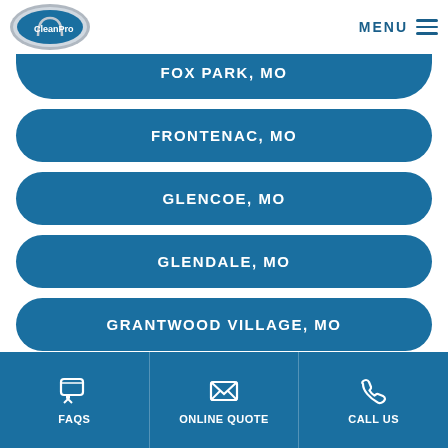CleanPro | MENU
FOX PARK, MO
FRONTENAC, MO
GLENCOE, MO
GLENDALE, MO
GRANTWOOD VILLAGE, MO
GRAVOIS PARK, MO
FAQS | ONLINE QUOTE | CALL US